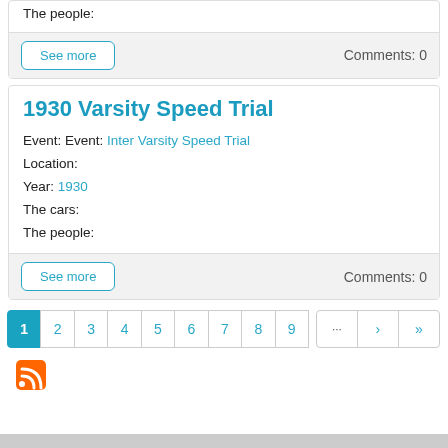The people:
See more    Comments: 0
1930 Varsity Speed Trial
Event: Event: Inter Varsity Speed Trial
Location:
Year: 1930
The cars:
The people:
See more    Comments: 0
1 2 3 4 5 6 7 8 9 ... › »